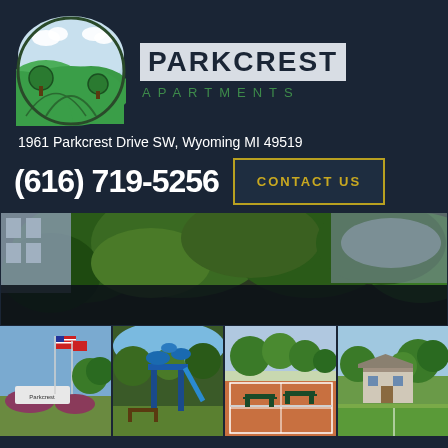[Figure (logo): Parkcrest Apartments circular logo with green hills, trees, and light blue sky]
PARKCREST APARTMENTS
1961 Parkcrest Drive SW, Wyoming MI 49519
(616) 719-5256
CONTACT US
[Figure (photo): Aerial view of apartment complex with green trees and parking lot]
[Figure (photo): Parkcrest sign with American flag]
[Figure (photo): Playground equipment]
[Figure (photo): Tennis courts with picnic tables and trees]
[Figure (photo): Outdoor recreation area with building and trees]